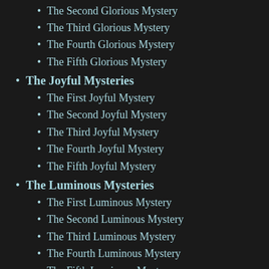The Second Glorious Mystery
The Third Glorious Mystery
The Fourth Glorious Mystery
The Fifth Glorious Mystery
The Joyful Mysteries
The First Joyful Mystery
The Second Joyful Mystery
The Third Joyful Mystery
The Fourth Joyful Mystery
The Fifth Joyful Mystery
The Luminous Mysteries
The First Luminous Mystery
The Second Luminous Mystery
The Third Luminous Mystery
The Fourth Luminous Mystery
The Fifth Luminous Mystery